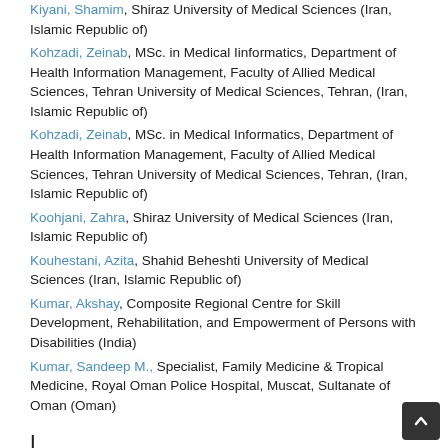Kiyani, Shamim, Shiraz University of Medical Sciences (Iran, Islamic Republic of)
Kohzadi, Zeinab, MSc. in Medical Iinformatics, Department of Health Information Management, Faculty of Allied Medical Sciences, Tehran University of Medical Sciences, Tehran, (Iran, Islamic Republic of)
Kohzadi, Zeinab, MSc. in Medical Informatics, Department of Health Information Management, Faculty of Allied Medical Sciences, Tehran University of Medical Sciences, Tehran, (Iran, Islamic Republic of)
Koohjani, Zahra, Shiraz University of Medical Sciences (Iran, Islamic Republic of)
Kouhestani, Azita, Shahid Beheshti University of Medical Sciences (Iran, Islamic Republic of)
Kumar, Akshay, Composite Regional Centre for Skill Development, Rehabilitation, and Empowerment of Persons with Disabilities (India)
Kumar, Sandeep M., Specialist, Family Medicine & Tropical Medicine, Royal Oman Police Hospital, Muscat, Sultanate of Oman (Oman)
L